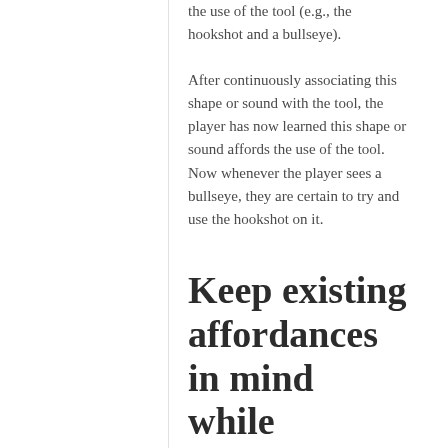the use of the tool (e.g., the hookshot and a bullseye).
After continuously associating this shape or sound with the tool, the player has now learned this shape or sound affords the use of the tool. Now whenever the player sees a bullseye, they are certain to try and use the hookshot on it.
Keep existing affordances in mind while designing
Before someone starts using your application or playing your game, they have already “learned” affordances